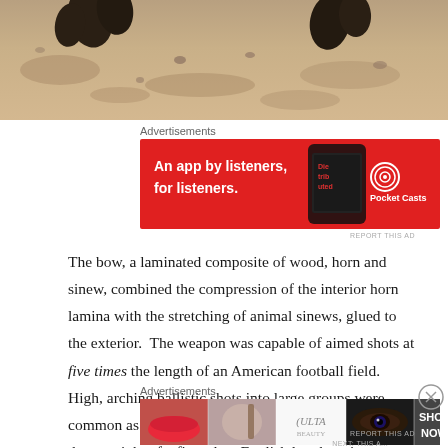[Figure (photo): Top portion of an outdoor photo showing hooves on sandy/dirt ground, partial image cropped at top]
Advertisements
[Figure (other): Pocket Casts advertisement banner: red background with text 'An app by listeners, for listeners.' and Pocket Casts logo with a smartphone image]
REPORT THIS AD
The bow, a laminated composite of wood, horn and sinew, combined the compression of the interior horn lamina with the stretching of animal sinews, glued to the exterior.  The weapon was capable of aimed shots at five times the length of an American football field.  High, arching ballistic shots into large groups were common as far as 2½ times that distance. The average draw weight of a first-class English longbow is
Advertisements
[Figure (other): ULTA Beauty advertisement banner showing close-up images of lips with makeup, eyes with makeup, and ULTA logo with 'SHOP NOW' text]
REPORT THIS AD
NEXT: THIS A...